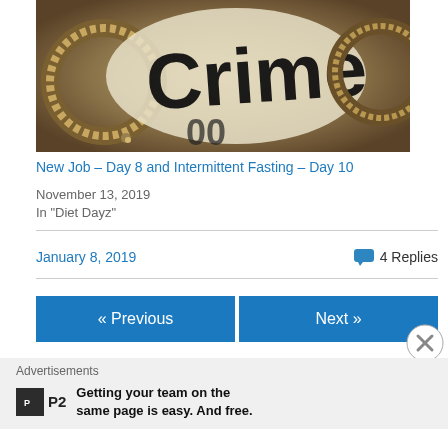[Figure (photo): Close-up photo of handcuffs with the word 'Crime' printed on what appears to be a newspaper or document underneath]
New Job – Day 8 and Intermittent Fasting – Day 10
November 13, 2019
In "Diet Dayz"
January 8, 2019
4 Replies
« Previous
Next »
Advertisements
Getting your team on the same page is easy. And free.